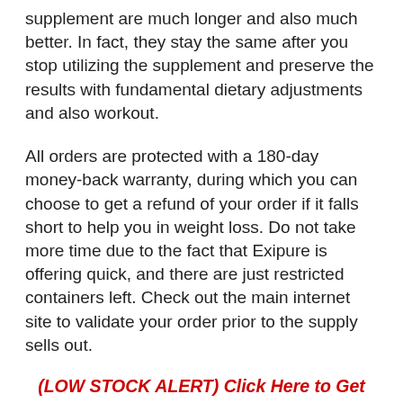supplement are much longer and also much better. In fact, they stay the same after you stop utilizing the supplement and preserve the results with fundamental dietary adjustments and also workout.
All orders are protected with a 180-day money-back warranty, during which you can choose to get a refund of your order if it falls short to help you in weight loss. Do not take more time due to the fact that Exipure is offering quick, and there are just restricted containers left. Check out the main internet site to validate your order prior to the supply sells out.
(LOW STOCK ALERT) Click Here to Get